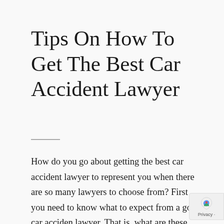Tips On How To Get The Best Car Accident Lawyer
How do you go about getting the best car accident lawyer to represent you when there are so many lawyers to choose from? First you need to know what to expect from a good car accident lawyer. That is, what are these qualities that separate a good car accident